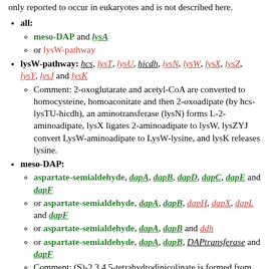only reported to occur in eukaryotes and is not described here.
all:
meso-DAP and lysA
or lysW-pathway
lysW-pathway: hcs, lysT, lysU, hicdh, lysN, lysW, lysX, lysZ, lysY, lysJ and lysK
Comment: 2-oxoglutarate and acetyl-CoA are converted to homocysteine, homoaconitate and then 2-oxoadipate (by hcs-lysTU-hicdh), an aminotransferase (lysN) forms L-2-aminoadipate, lysX ligates 2-aminoadipate to lysW, lysZYJ convert LysW-aminoadipate to LysW-lysine, and lysK releases lysine.
meso-DAP:
aspartate-semialdehyde, dapA, dapB, dapD, dapC, dapE and dapF
or aspartate-semialdehyde, dapA, dapB, dapH, dapX, dapL and dapF
or aspartate-semialdehyde, dapA, dapB and ddh
or aspartate-semialdehyde, dapA, dapB, DAPtransferase and dapF
Comment: (S)-2,3,4,5-tetrahydrodipicolinate is formed from aspartate semialdehyde by dapAB. In pathway I (dapDCE), it is succinylated, transaminated, and